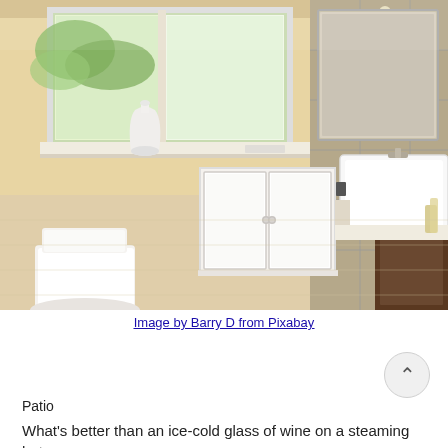[Figure (photo): A modern bright bathroom interior with warm beige walls, large windows with a white vase on the sill, white built-in cabinet below the window, a white bathtub on the right, toilet on the lower left, large wall mirror above the sink, and light tile flooring.]
Image by Barry D from Pixabay
Patio
What's better than an ice-cold glass of wine on a steaming hot